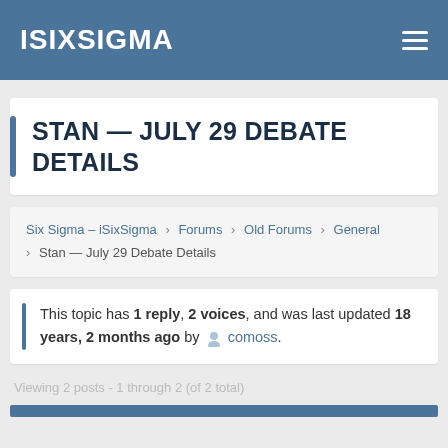ISIXSIGMA
STAN — JULY 29 DEBATE DETAILS
Six Sigma – iSixSigma › Forums › Old Forums › General › Stan — July 29 Debate Details
This topic has 1 reply, 2 voices, and was last updated 18 years, 2 months ago by comoss.
Viewing 2 posts - 1 through 2 (of 2 total)